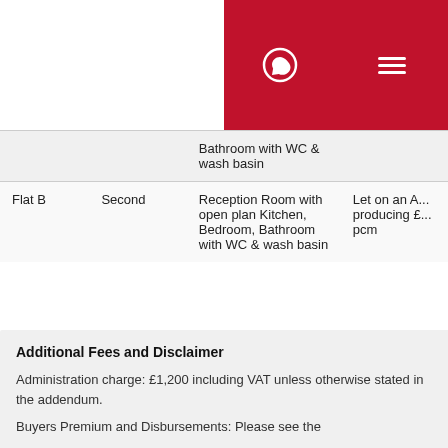| Unit | Floor | Description | Status |
| --- | --- | --- | --- |
|  |  | Bathroom with WC & wash basin |  |
| Flat B | Second | Reception Room with open plan Kitchen, Bedroom, Bathroom with WC & wash basin | Let on an A... producing £... pcm |
Additional Fees and Disclaimer
Administration charge: £1,200 including VAT unless otherwise stated in the addendum.
Buyers Premium and Disbursements: Please see the